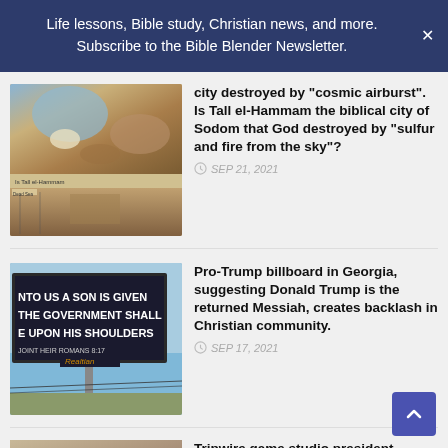Life lessons, Bible study, Christian news, and more. Subscribe to the Bible Blender Newsletter.
[Figure (photo): Satellite and aerial view of Tall el-Hammam archaeological site near Dead Sea]
city destroyed by "cosmic airburst". Is Tall el-Hammam the biblical city of Sodom that God destroyed by "sulfur and fire from the sky"?
SEP 21, 2021
[Figure (photo): Pro-Trump billboard in Georgia reading 'UNTO US A SON IS GIVEN THE GOVERNMENT SHALL BE UPON HIS SHOULDERS', referencing Isaiah 9:6 and Romans 8:17]
Pro-Trump billboard in Georgia, suggesting Donald Trump is the returned Messiah, creates backlash in Christian community.
SEP 17, 2021
[Figure (photo): Partial thumbnail for third article about Tripwire game studio president]
Tripwire game studio president